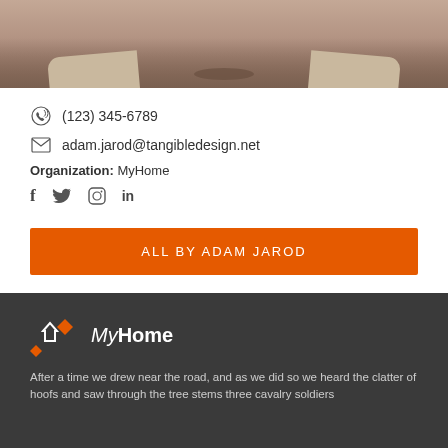[Figure (photo): Close-up photo of a person's chin and collar area, showing the bottom portion of a face with a jacket collar]
(123) 345-6789
adam.jarod@tangibledesign.net
Organization: MyHome
f  in (social media icons: Facebook, Twitter, Instagram, LinkedIn)
ALL BY ADAM JAROD
[Figure (logo): MyHome logo with orange and white house/diamond icons and bold MyHome text]
After a time we drew near the road, and as we did so we heard the clatter of hoofs and saw through the tree stems three cavalry soldiers